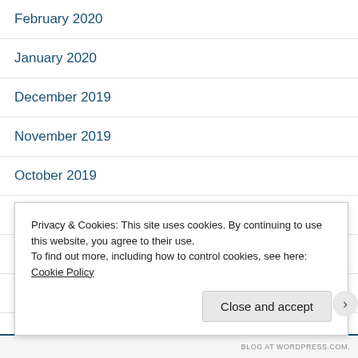February 2020
January 2020
December 2019
November 2019
October 2019
September 2019
August 2019
July 2019
June 2019
Privacy & Cookies: This site uses cookies. By continuing to use this website, you agree to their use.
To find out more, including how to control cookies, see here: Cookie Policy
Close and accept
BLOG AT WORDPRESS.COM.